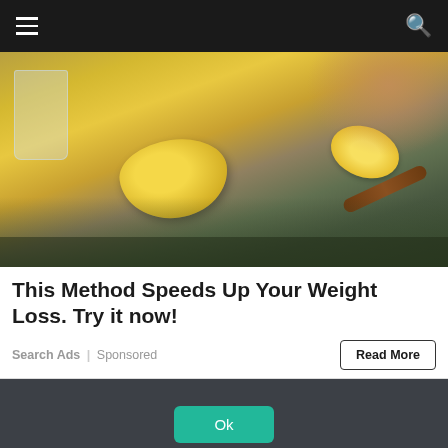☰  [search icon]
[Figure (photo): Close-up photo of lemons, a glass, and a honey dipper on a kitchen counter, with hands squeezing a lemon]
This Method Speeds Up Your Weight Loss. Try it now!
Search Ads | Sponsored
Read More
We only use cookies on this Site for particular features to work, the cookies do not collect and/or store any personal information about you.
Ok